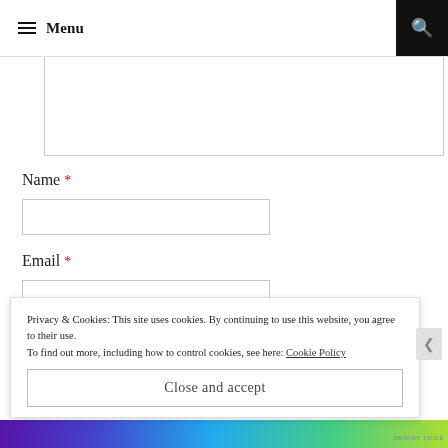Menu
[Comment textarea]
Name *
[Name input field]
Email *
[Email input field]
Privacy & Cookies: This site uses cookies. By continuing to use this website, you agree to their use.
To find out more, including how to control cookies, see here: Cookie Policy
Close and accept